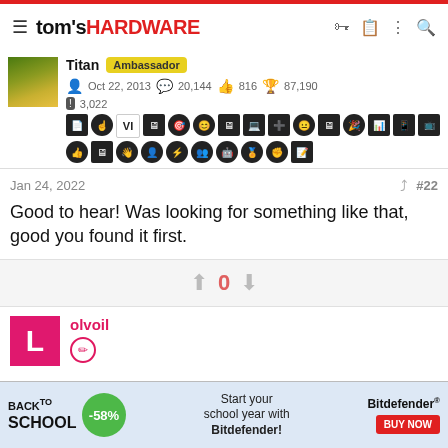tom's HARDWARE
Titan Ambassador
Oct 22, 2013  20,144  816  87,190
3,022
Jan 24, 2022  #22
Good to hear! Was looking for something like that, good you found it first.
0
olvoil
[Figure (infographic): Back to School advertisement for Bitdefender with -58% discount and Buy Now button]